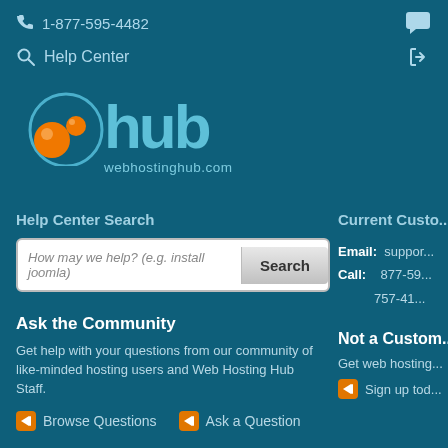1-877-595-4482
Help Center
[Figure (logo): Web Hosting Hub logo with orange orbs and blue 'hub' text, webhostinghub.com]
Help Center Search
How may we help? (e.g. install joomla)
Current Custo...
Email: support
Call: 877-59...
757-41...
Ask the Community
Get help with your questions from our community of like-minded hosting users and Web Hosting Hub Staff.
Browse Questions
Ask a Question
Not a Custom...
Get web hosting...
Sign up tod...